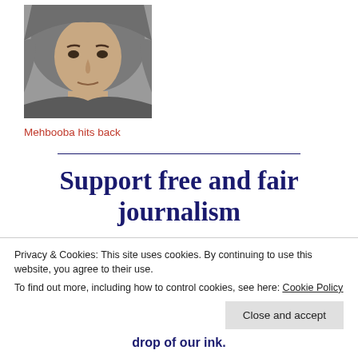[Figure (photo): Portrait photo of Mehbooba Mufti, a woman wearing a gray headscarf]
Mehbooba hits back
Support free and fair journalism
Our endeavour to pursue free and fair journalism is possible only when we are both editorially and
Privacy & Cookies: This site uses cookies. By continuing to use this website, you agree to their use.
To find out more, including how to control cookies, see here: Cookie Policy
Close and accept
drop of our ink.